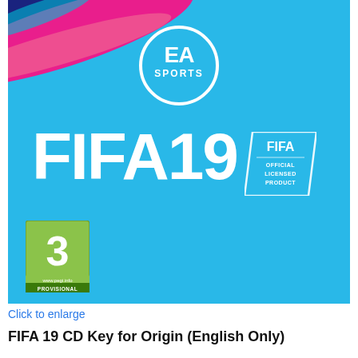[Figure (photo): FIFA 19 game box art showing EA Sports logo, FIFA 19 title text, FIFA Official Licensed Product badge, and PEGI 3 rating on a light blue background with pink/magenta paint strokes in the top left corner.]
Click to enlarge
FIFA 19 CD Key for Origin (English Only)